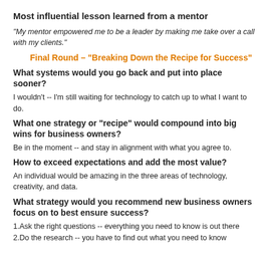Most influential lesson learned from a mentor
"My mentor empowered me to be a leader by making me take over a call with my clients."
Final Round – “Breaking Down the Recipe for Success”
What systems would you go back and put into place sooner?
I wouldn’t -- I’m still waiting for technology to catch up to what I want to do.
What one strategy or “recipe” would compound into big wins for business owners?
Be in the moment -- and stay in alignment with what you agree to.
How to exceed expectations and add the most value?
An individual would be amazing in the three areas of technology, creativity, and data.
What strategy would you recommend new business owners focus on to best ensure success?
Ask the right questions -- everything you need to know is out there
Do the research -- you have to find out what you need to know